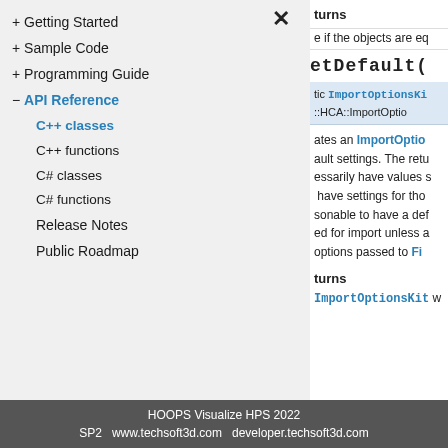+ Getting Started
+ Sample Code
+ Programming Guide
- API Reference
C++ classes
C++ functions
C# classes
C# functions
Release Notes
Public Roadmap
turns
e if the objects are eq
etDefault(
tic ImportOptionsKi
::HCA::ImportOptio
ates an ImportOptio ault settings. The retu essarily have values s  have settings for tho sonable to have a def ed for import unless a options passed to Fi
turns
ImportOptionsKit w
HOOPS Visualize HPS 2022
SP2   www.techsoft3d.com   developer.techsoft3d.com